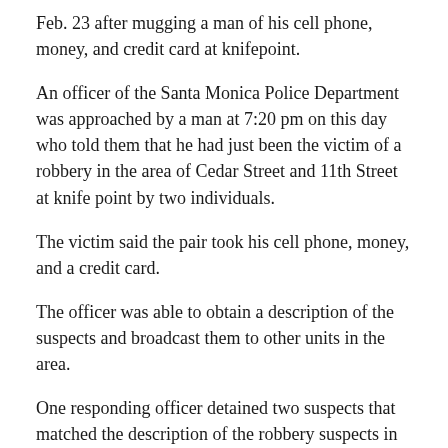Feb. 23 after mugging a man of his cell phone, money, and credit card at knifepoint.
An officer of the Santa Monica Police Department was approached by a man at 7:20 pm on this day who told them that he had just been the victim of a robbery in the area of Cedar Street and 11th Street at knife point by two individuals.
The victim said the pair took his cell phone, money, and a credit card.
The officer was able to obtain a description of the suspects and broadcast them to other units in the area.
One responding officer detained two suspects that matched the description of the robbery suspects in the area of Lincoln Boulevard and Strand Street.
The victim was taken to that area by the police officer and was able to positively identify the suspects as the ones that robbed him...